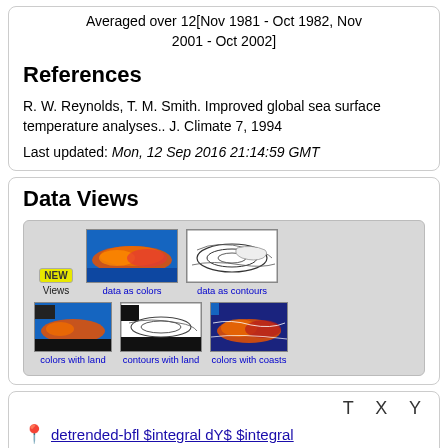Averaged over 12[Nov 1981 - Oct 1982, Nov 2001 - Oct 2002]
References
R. W. Reynolds, T. M. Smith. Improved global sea surface temperature analyses.. J. Climate 7, 1994
Last updated: Mon, 12 Sep 2016 21:14:59 GMT
Data Views
[Figure (screenshot): Data Views panel showing NEW Views button and five data view thumbnails: 'data as colors' (color heatmap), 'data as contours' (contour map), 'colors with land', 'contours with land', 'colors with coasts']
T X Y
detrended-bfl $integral dY$ $integral dT$...